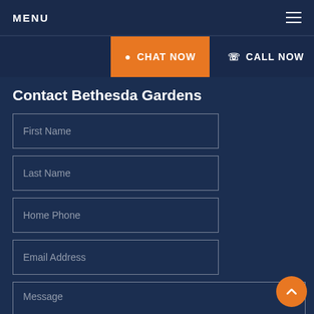MENU
CHAT NOW
CALL NOW
Contact Bethesda Gardens
First Name
Last Name
Home Phone
Email Address
Message